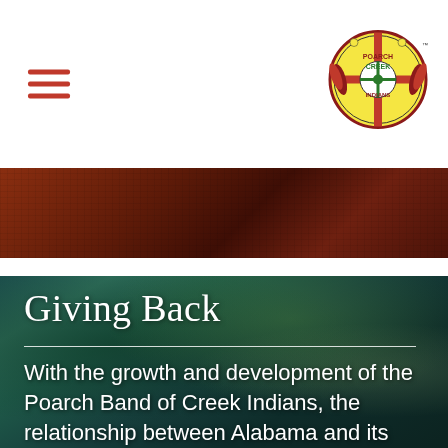Poarch Creek Indians website header with hamburger menu and tribal logo
[Figure (photo): Dark reddish-brown woven textile or wood texture hero banner image]
Giving Back
With the growth and development of the Poarch Band of Creek Indians, the relationship between Alabama and its only federally recognized Tribe has deepened into a mutually beneficial